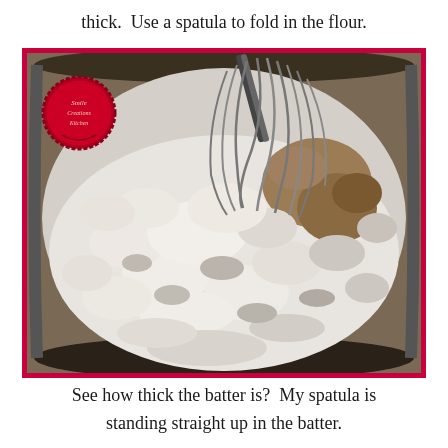thick.  Use a spatula to fold in the flour.
[Figure (photo): A glass bowl containing a thick, lumpy mixture of flour and wet batter ingredients being mixed with a metal whisk. A red wax seal logo is visible in the upper left corner of the photo.]
See how thick the batter is?  My spatula is standing straight up in the batter.